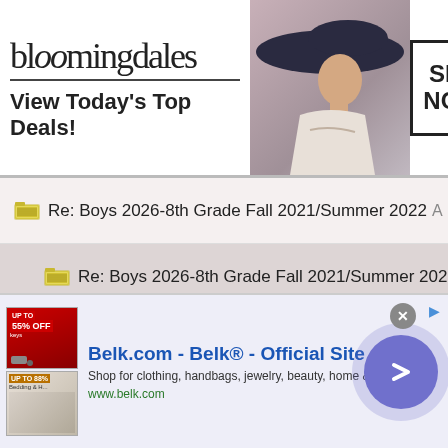[Figure (screenshot): Bloomingdales advertisement banner: logo, 'View Today's Top Deals!', model with hat, SHOP NOW button]
Re: Boys 2026-8th Grade Fall 2021/Summer 2022
Re: Boys 2026-8th Grade Fall 2021/Summer 2022
Re: Boys 2026-8th Grade Fall 2021/Summer 2022
Re: Boys 2026-8th Grade Fall 2021/Summer 2022
Re: Boys 2026-8th Grade Fall 2021/Summer 2022
Re: Boys 2026-8th Grade Fall 2021/Summer 2022
Re: Boys 2026-8th Grade Fall 2021/Summer 2022
Re: Boys 2026-8th Grade Fall 2021/Summer 2022
Re: Boys 2026-8th Grade Fall 2021/Summer 2022
Re: Boys 2026-8th Grade Fall 2021/Summer 2022
[Figure (screenshot): Belk.com advertisement: Belk Official Site, shop for clothing handbags jewelry beauty home and more, www.belk.com, with arrow button]